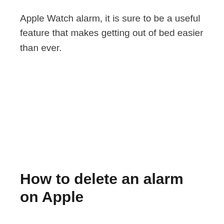Apple Watch alarm, it is sure to be a useful feature that makes getting out of bed easier than ever.
How to delete an alarm on Apple